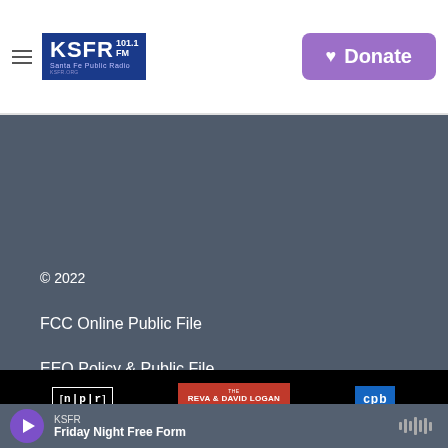[Figure (logo): KSFR 101.1 FM Santa Fe Public Radio logo in dark blue box]
[Figure (logo): Donate button in purple with heart icon]
© 2022
FCC Online Public File
EEO Policy & Public File
[Figure (logo): NPR logo in white outlined box]
[Figure (logo): Reva & David Logan Foundation logo on red background]
[Figure (logo): CPB logo on blue background]
KSFR
Friday Night Free Form